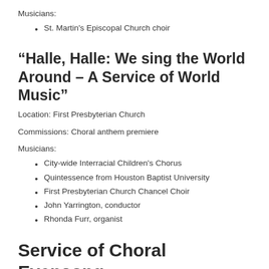Musicians:
St. Martin's Episcopal Church choir
“Halle, Halle: We sing the World Around – A Service of World Music”
Location: First Presbyterian Church
Commissions: Choral anthem premiere
Musicians:
City-wide Interracial Children's Chorus
Quintessence from Houston Baptist University
First Presbyterian Church Chancel Choir
John Yarrington, conductor
Rhonda Furr, organist
Service of Choral Evensong